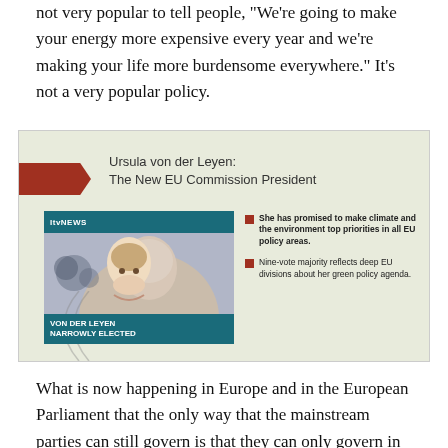not very popular to tell people, "We're going to make your energy more expensive every year and we're making your life more burdensome everywhere." It's not a very popular policy.
[Figure (screenshot): Screenshot of an ITV News infographic about Ursula von der Leyen becoming the New EU Commission President, with a photo of her and two bullet points: she has promised to make climate and the environment top priorities in all EU policy areas, and nine-vote majority reflects deep EU divisions about her green policy agenda. Caption reads 'VON DER LEYEN NARROWLY ELECTED'.]
What is now happening in Europe and in the European Parliament that the only way that the mainstream parties can still govern is that they can only govern in a grand